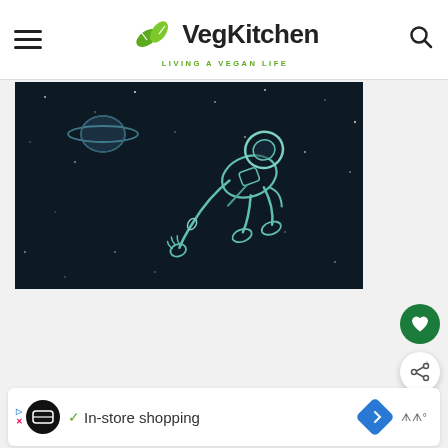VegKitchen — LIVING A VEGAN LIFE
[Figure (illustration): Illustration of an astronaut floating in space with stars and Saturn planet in the background, rendered in dark teal/cyan line art on a dark navy background.]
In-store shopping
Ad bar with In-store shopping